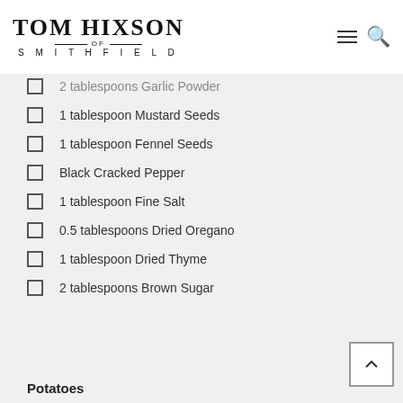TOM HIXSON OF SMITHFIELD
2 tablespoons Garlic Powder
1 tablespoon Mustard Seeds
1 tablespoon Fennel Seeds
Black Cracked Pepper
1 tablespoon Fine Salt
0.5 tablespoons Dried Oregano
1 tablespoon Dried Thyme
2 tablespoons Brown Sugar
Potatoes